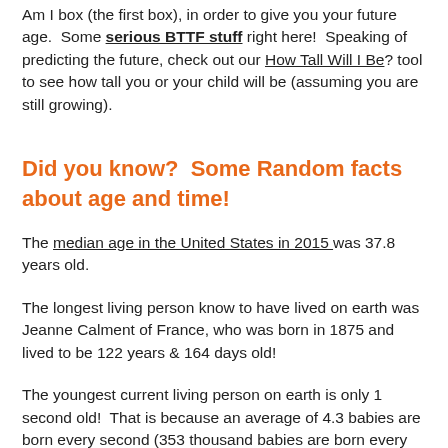Am I box (the first box), in order to give you your future age.  Some serious BTTF stuff right here!  Speaking of predicting the future, check out our How Tall Will I Be? tool to see how tall you or your child will be (assuming you are still growing).
Did you know?  Some Random facts about age and time!
The median age in the United States in 2015 was 37.8 years old.
The longest living person know to have lived on earth was Jeanne Calment of France, who was born in 1875 and lived to be 122 years & 164 days old!
The youngest current living person on earth is only 1 second old!  That is because an average of 4.3 babies are born every second (353 thousand babies are born every day as